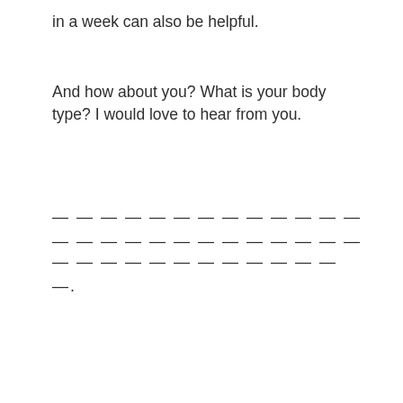in a week can also be helpful.
And how about you? What is your body type? I would love to hear from you.
— — — — — — — — — — — — — — — — — — — — — — — — — —
— — — — — — — — — — — — —.